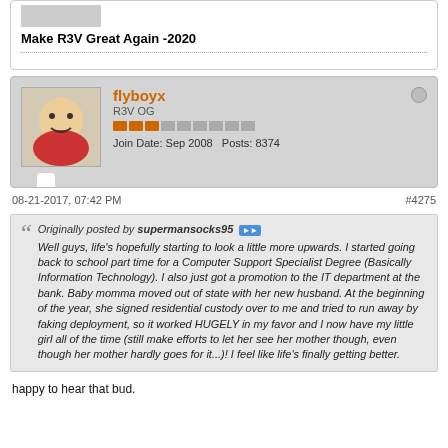[Figure (photo): Small avatar/profile picture thumbnail at top]
Make R3V Great Again -2020
flyboyx
R3V OG
Join Date: Sep 2008   Posts: 8374
08-21-2017, 07:42 PM
#4275
Originally posted by supermansocks95
Well guys, life's hopefully starting to look a little more upwards. I started going back to school part time for a Computer Support Specialist Degree (Basically Information Technology). I also just got a promotion to the IT department at the bank. Baby momma moved out of state with her new husband. At the beginning of the year, she signed residential custody over to me and tried to run away by faking deployment, so it worked HUGELY in my favor and I now have my little girl all of the time (still make efforts to let her see her mother though, even though her mother hardly goes for it...)! I feel like life's finally getting better.
happy to hear that bud.